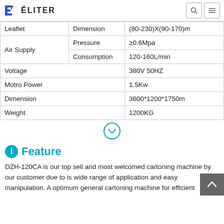ÉLITER
| Category | Parameter | Value |
| --- | --- | --- |
| Leaflet | Dimension | (80-230)X(90-170)m |
| Air Supply | Pressure | ≥0.6Mpa |
| Air Supply | Consumption | 120-160L/min |
| Voltage |  | 380V 50HZ |
| Motro Power |  | 1.5Kw |
| Dimension |  | 3600*1200*1750m |
| Weight |  | 1200KG |
Feature
DZH-120CA is our top sell and most welcomed cartoning machine by our customer due to is wide range of application and easy manipulation. A optimum general cartoning machine for efficient